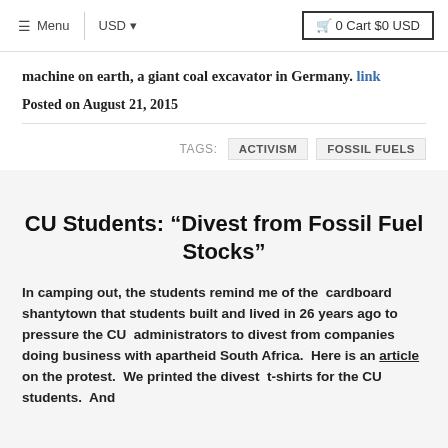Menu  USD  0 Cart $0 USD
machine on earth, a giant coal excavator in Germany. link
Posted on August 21, 2015
TAGS: ACTIVISM  FOSSIL FUELS
CU Students: “Divest from Fossil Fuel Stocks”
In camping out, the students remind me of the  cardboard shantytown that students built and lived in 26 years ago to pressure the CU  administrators to divest from companies doing business with apartheid South Africa.  Here is an article on the protest.  We printed the divest  t-shirts for the CU students.  And